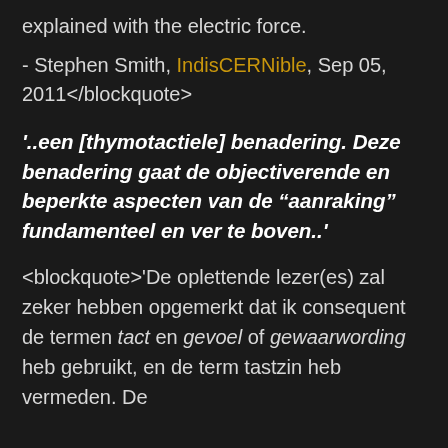explained with the electric force.
- Stephen Smith, IndisCERNible, Sep 05, 2011</blockquote>
'..een [thymotactiele] benadering. Deze benadering gaat de objectiverende en beperkte aspecten van de “aanraking” fundamenteel en ver te boven..'
<blockquote>'De oplettende lezer(es) zal zeker hebben opgemerkt dat ik consequent de termen tact en gevoel of gewaarwording heb gebruikt, en de term tastzin heb vermeden. De